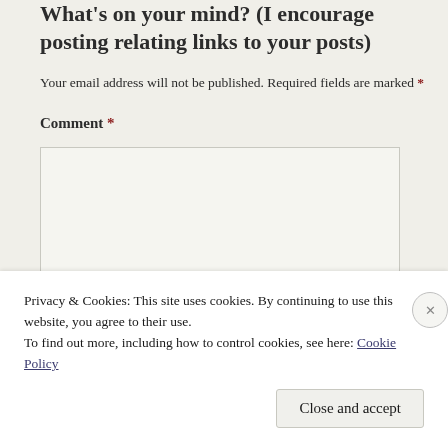What's on your mind? (I encourage posting relating links to your posts)
Your email address will not be published. Required fields are marked *
Comment *
Privacy & Cookies: This site uses cookies. By continuing to use this website, you agree to their use.
To find out more, including how to control cookies, see here: Cookie Policy
Close and accept